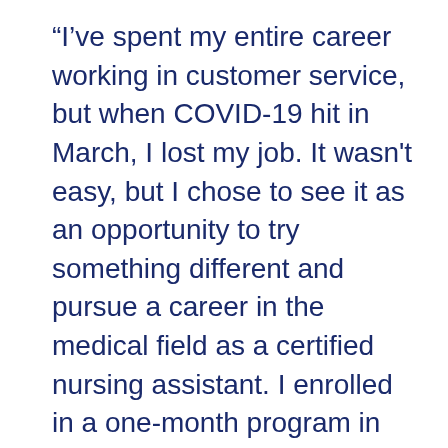“I’ve spent my entire career working in customer service, but when COVID-19 hit in March, I lost my job. It wasn't easy, but I chose to see it as an opportunity to try something different and pursue a career in the medical field as a certified nursing assistant. I enrolled in a one-month program in Massachusetts and immediately started looking for jobs. Unfortunately, every open position required a one-hour commute from Rhode Island, which wasn't sustainable for me. I applied to various facilities across Rhode